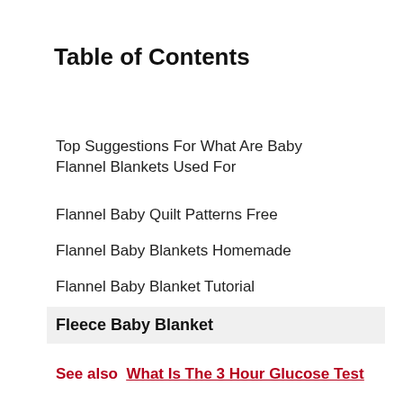Table of Contents
Top Suggestions For What Are Baby Flannel Blankets Used For
Flannel Baby Quilt Patterns Free
Flannel Baby Blankets Homemade
Flannel Baby Blanket Tutorial
Fleece Baby Blanket
See also  What Is The 3 Hour Glucose Test